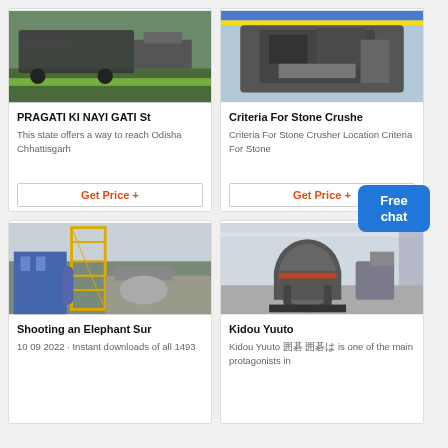[Figure (photo): Mobile stone crusher machine on a road]
PRAGATI KI NAYI GATI St
This state offers a way to reach Odisha Chhattisgarh
Get Price +
[Figure (photo): Stone crusher machine equipment]
Criteria For Stone Crushe
Criteria For Stone Crusher Location Criteria For Stone
Get Price +
[Figure (photo): Industrial plant with yellow scaffolding tower]
Shooting an Elephant Sur
10 09 2022 · Instant downloads of all 1493
[Figure (photo): VSI crusher machine in factory]
Kidou Yuuto
Kidou Yuuto 囲碁 囲碁は is one of the main protagonists in